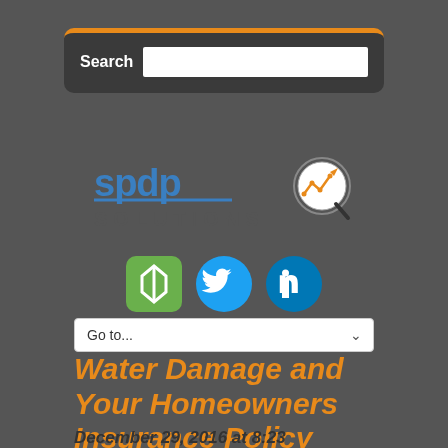Search
[Figure (logo): SPDP Solutions logo with blue stylized text and orange analytics icon]
[Figure (infographic): Three social media icons: green Kin (Kabam) icon, blue Twitter bird icon, blue LinkedIn icon]
Go to...
Water Damage and Your Homeowners Insurance Policy
December 29, 2016 at 8:23